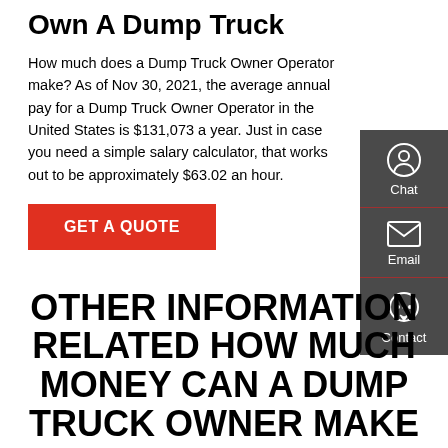Own A Dump Truck
How much does a Dump Truck Owner Operator make? As of Nov 30, 2021, the average annual pay for a Dump Truck Owner Operator in the United States is $131,073 a year. Just in case you need a simple salary calculator, that works out to be approximately $63.02 an hour.
GET A QUOTE
[Figure (infographic): Dark grey sidebar with Chat, Email, and Contact icons and labels]
OTHER INFORMATION RELATED HOW MUCH MONEY CAN A DUMP TRUCK OWNER MAKE